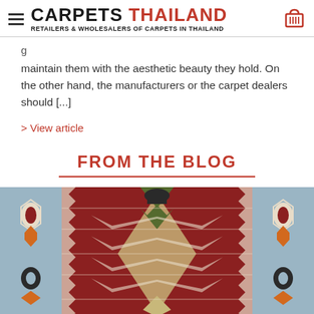CARPETS THAILAND — RETAILERS & WHOLESALERS OF CARPETS IN THAILAND
maintain them with the aesthetic beauty they hold. On the other hand, the manufacturers or the carpet dealers should [...]
> View article
FROM THE BLOG
[Figure (photo): Close-up image of a colorful traditional kilim/dhurrie carpet with geometric patterns in red, blue, green, beige, black and orange on a cream background.]